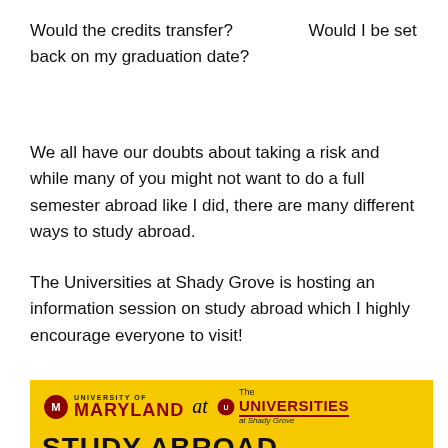Would the credits transfer?      Would I be set back on my graduation date?
We all have our doubts about taking a risk and while many of you might not want to do a full semester abroad like I did, there are many different ways to study abroad.
The Universities at Shady Grove is hosting an information session on study abroad which I highly encourage everyone to visit!
[Figure (logo): University of Maryland at The Universities at Shady Grove logo on yellow background with STUDY ABROAD text]